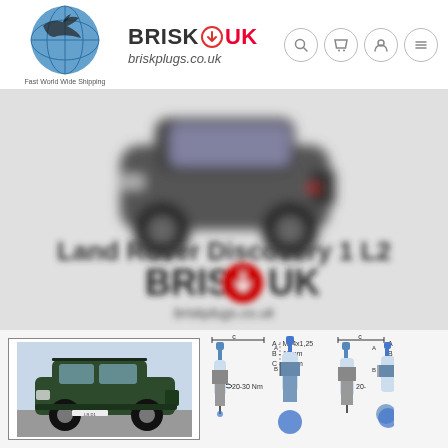[Figure (logo): Brisk UK logo with globe/shark icon, brand name BRISK UK and URL briskplugs.co.uk, Fast World Wide Shipping text]
Fast World Wide Shipping
[Figure (photo): Blurred hero banner showing a Land Rover Discovery 1 L2 vehicle image with BRISK UK branding and briskplugs.co.uk URL overlaid]
[Figure (photo): Small Land Rover Discovery product photo in a bordered box]
[Figure (engineering-diagram): Spark plug technical specification diagram showing dimensions: A - M14x1.25, B - 19mm, C - 21mm, torque 20-30 Nm with exclamation mark]
[Figure (engineering-diagram): Second spark plug technical specification diagram (partially visible) showing dimensions A - M..., B - 19, C - 21, torque 20-]